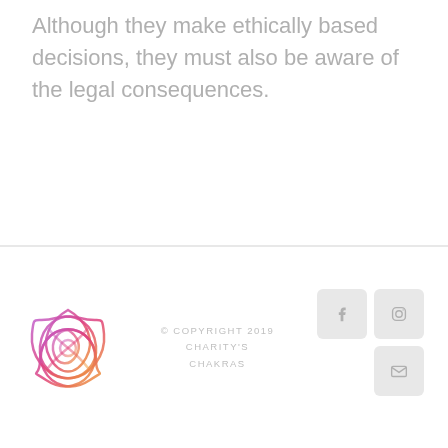Although they make ethically based decisions, they must also be aware of the legal consequences.
[Figure (logo): Charity's Chakras decorative knot logo in pink-to-orange gradient]
© COPYRIGHT 2019 CHARITY'S CHAKRAS
[Figure (other): Social media icons: Facebook, Instagram, Email]